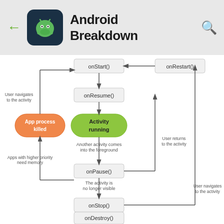Android Breakdown
[Figure (flowchart): Android Activity Lifecycle flowchart showing states: onStart(), onRestart(), onResume(), Activity running, onPause(), onStop(), onDestroy(), App process killed. Arrows show transitions with labels: User navigates to the activity, Another activity comes into the foreground, Apps with higher priority need memory, The activity is no longer visible, The activity is finishing or being destroyed by the system, User returns to the activity, User navigates to the activity.]